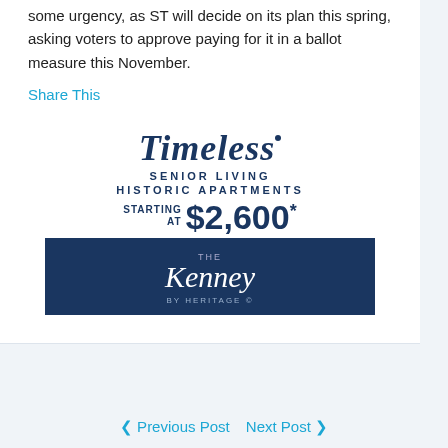some urgency, as ST will decide on its plan this spring, asking voters to approve paying for it in a ballot measure this November.
Share This
[Figure (advertisement): Timeless Senior Living Historic Apartments ad. Starting at $2,600*. The Kenney by Heritage.]
< Previous Post   Next Post >